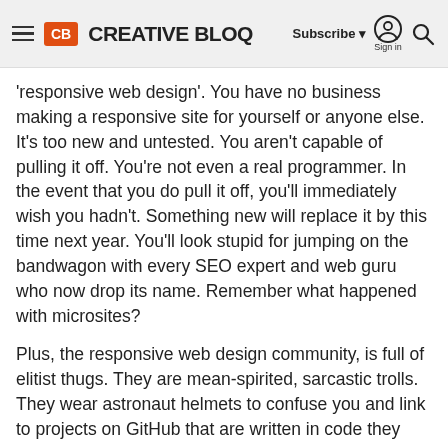Creative Bloq — Subscribe | Sign in
'responsive web design'. You have no business making a responsive site for yourself or anyone else. It's too new and untested. You aren't capable of pulling it off. You're not even a real programmer. In the event that you do pull it off, you'll immediately wish you hadn't. Something new will replace it by this time next year. You'll look stupid for jumping on the bandwagon with every SEO expert and web guru who now drop its name. Remember what happened with microsites?
Plus, the responsive web design community, is full of elitist thugs. They are mean-spirited, sarcastic trolls. They wear astronaut helmets to confuse you and link to projects on GitHub that are written in code they